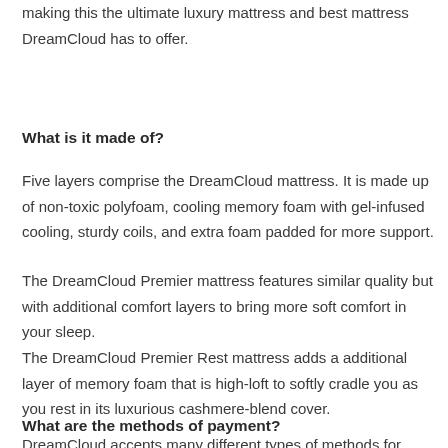making this the ultimate luxury mattress and best mattress DreamCloud has to offer.
What is it made of?
Five layers comprise the DreamCloud mattress. It is made up of non-toxic polyfoam, cooling memory foam with gel-infused cooling, sturdy coils, and extra foam padded for more support.
The DreamCloud Premier mattress features similar quality but with additional comfort layers to bring more soft comfort in your sleep.
The DreamCloud Premier Rest mattress adds a additional layer of memory foam that is high-loft to softly cradle you as you rest in its luxurious cashmere-blend cover.
What are the methods of payment?
DreamCloud accepts many different types of methods for payment